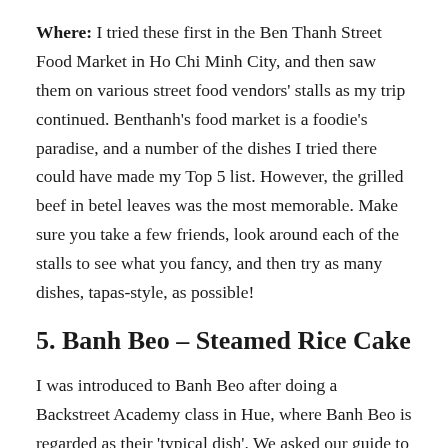Where: I tried these first in the Ben Thanh Street Food Market in Ho Chi Minh City, and then saw them on various street food vendors' stalls as my trip continued. Benthanh's food market is a foodie's paradise, and a number of the dishes I tried there could have made my Top 5 list. However, the grilled beef in betel leaves was the most memorable. Make sure you take a few friends, look around each of the stalls to see what you fancy, and then try as many dishes, tapas-style, as possible!
5. Banh Beo – Steamed Rice Cake
I was introduced to Banh Beo after doing a Backstreet Academy class in Hue, where Banh Beo is regarded as their 'typical dish'. We asked our guide to take us to her favourite eatery for classic Vietnamese food and we were lucky she showcased this dish. It consists of a steamed rice pancake with a dimple in the centre usually filled with savoury ingredients.